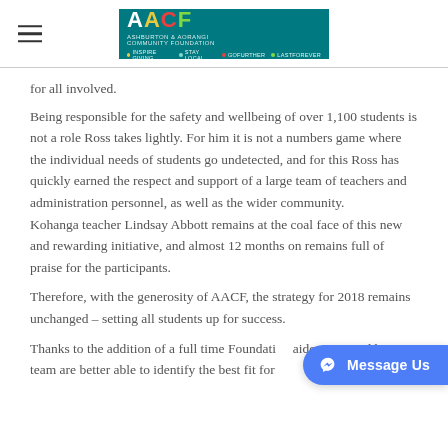AACF logo header with hamburger menu
for all involved.
Being responsible for the safety and wellbeing of over 1,100 students is not a role Ross takes lightly. For him it is not a numbers game where the individual needs of students go undetected, and for this Ross has quickly earned the respect and support of a large team of teachers and administration personnel, as well as the wider community. Kohanga teacher Lindsay Abbott remains at the coal face of this new and rewarding initiative, and almost 12 months on remains full of praise for the participants.
Therefore, with the generosity of AACF, the strategy for 2018 remains unchanged – setting all students up for success.
Thanks to the addition of a full time Foundation aide, Ross and his team are better able to identify the best fit for